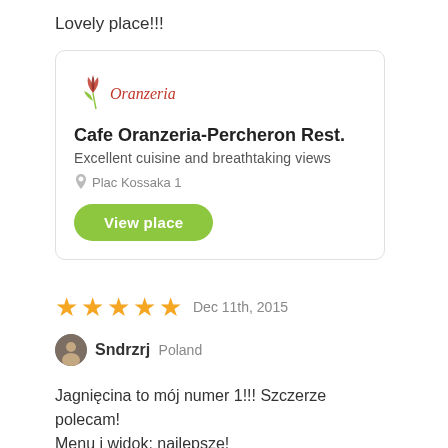Lovely place!!!
[Figure (screenshot): Restaurant card for Cafe Oranzeria-Percheron Rest. with logo, subtitle 'Excellent cuisine and breathtaking views', address 'Plac Kossaka 1', and a green 'View place' button]
★★★★★ Dec 11th, 2015
Sndrzrj Poland
Jagnięcina to mój numer 1!!! Szczerze polecam! Menu i widok: najlepsze!